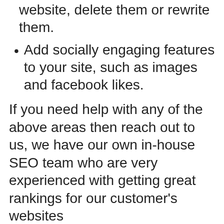website, delete them or rewrite them.
Add socially engaging features to your site, such as images and facebook likes.
If you need help with any of the above areas then reach out to us, we have our own in-house SEO team who are very experienced with getting great rankings for our customer's websites
Adrian Lawrence is the author of this article and is one of the webmasters at Discount Domains.
https://plus.google.com/u/0/10608832285686274